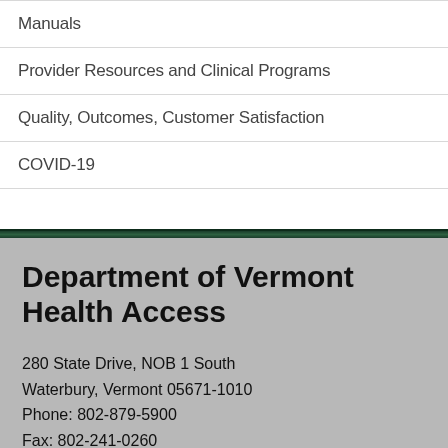Manuals
Provider Resources and Clinical Programs
Quality, Outcomes, Customer Satisfaction
COVID-19
Department of Vermont Health Access
280 State Drive, NOB 1 South
Waterbury, Vermont 05671-1010
Phone: 802-879-5900
Fax: 802-241-0260
Department Contact List for customer service, program telephone and fax numbers, and staff email